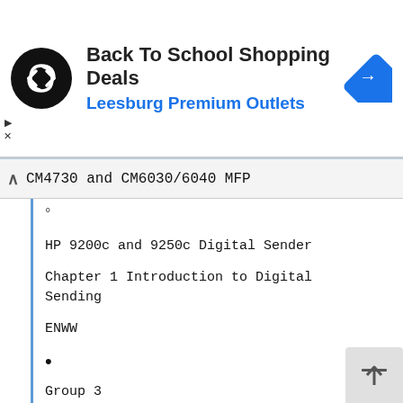[Figure (screenshot): Advertisement banner for Back To School Shopping Deals at Leesburg Premium Outlets with logo and navigation icon]
CM4730 and CM6030/6040 MFP
° (small bullet)
HP 9200c and 9250c Digital Sender
Chapter 1 Introduction to Digital Sending
ENWW
• (large bullet)
Group 3
° (small bullet)
HP ScanJet Enterprise 7000n Document